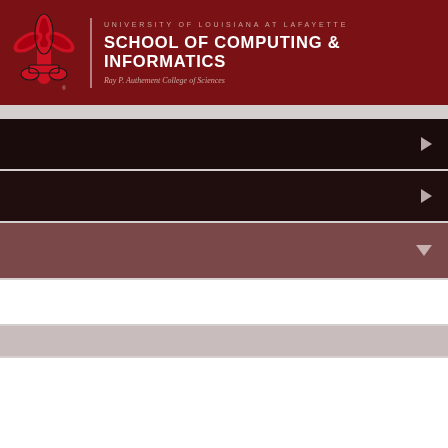[Figure (logo): University of Louisiana at Lafayette fleur-de-lis logo in red, black and white]
UNIVERSITY OF LOUISIANA AT LAFAYETTE
SCHOOL OF COMPUTING & INFORMATICS
Ray P. Authement College of Sciences
[Figure (screenshot): Navigation interface with three collapsible bars (two dark collapsed bars with right arrows, one medium collapsed bar with down arrow), followed by a white expanded content area, a light gray sub-bar, and a white content box]